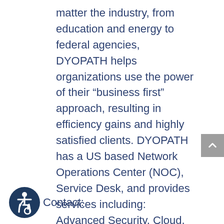matter the industry, from education and energy to federal agencies, DYOPATH helps organizations use the power of their “business first” approach, resulting in efficiency gains and highly satisfied clients. DYOPATH has a US based Network Operations Center (NOC), Service Desk, and provides services including: Advanced Security, Cloud, Connectivity, Education, IT Outsourcing, Managed & Professional Services.
Contact: